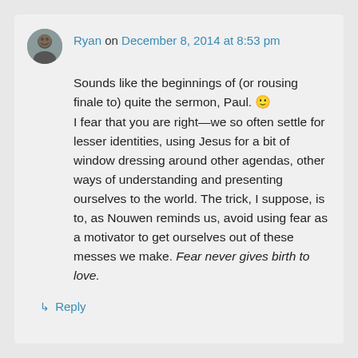Ryan on December 8, 2014 at 8:53 pm
Sounds like the beginnings of (or rousing finale to) quite the sermon, Paul. 🙂
I fear that you are right—we so often settle for lesser identities, using Jesus for a bit of window dressing around other agendas, other ways of understanding and presenting ourselves to the world. The trick, I suppose, is to, as Nouwen reminds us, avoid using fear as a motivator to get ourselves out of these messes we make. Fear never gives birth to love.
↳ Reply